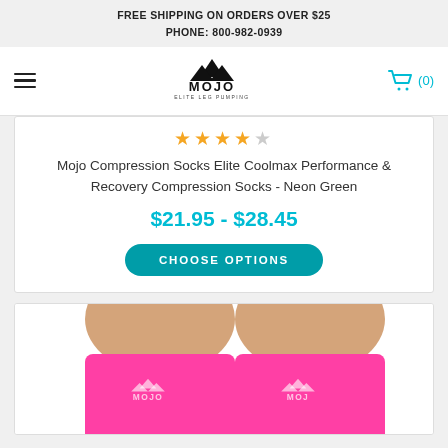FREE SHIPPING ON ORDERS OVER $25
PHONE: 800-982-0939
[Figure (logo): Mojo Elite Leg Pumping logo with mountain-peak icon and hamburger menu, cart icon showing (0)]
[Figure (other): Star rating: 4 out of 5 stars (gold stars with one empty)]
Mojo Compression Socks Elite Coolmax Performance & Recovery Compression Socks - Neon Green
$21.95 - $28.45
CHOOSE OPTIONS
[Figure (photo): Two legs wearing bright neon pink/magenta Mojo compression socks with Mojo logo branding visible]